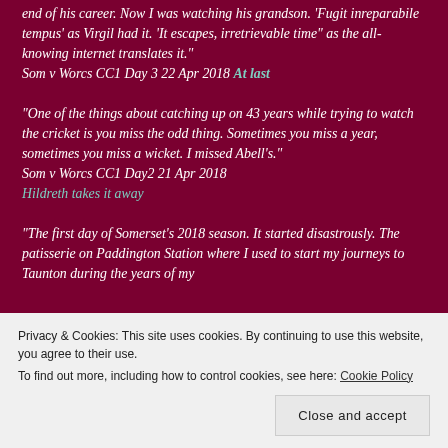end of his career. Now I was watching his grandson. 'Fugit inreparabile tempus' as Virgil had it. 'It escapes, irretrievable time" as the all-knowing internet translates it."
Som v Worcs CC1 Day 3 22 Apr 2018 At last
"One of the things about catching up on 43 years while trying to watch the cricket is you miss the odd thing. Sometimes you miss a year, sometimes you miss a wicket. I missed Abell's."
Som v Worcs CC1 Day2 21 Apr 2018
Hildreth takes it away
"The first day of Somerset's 2018 season. It started disastrously. The patisserie on Paddington Station where I used to start my journeys to Taunton during the years of my...
Privacy & Cookies: This site uses cookies. By continuing to use this website, you agree to their use.
To find out more, including how to control cookies, see here: Cookie Policy
Close and accept